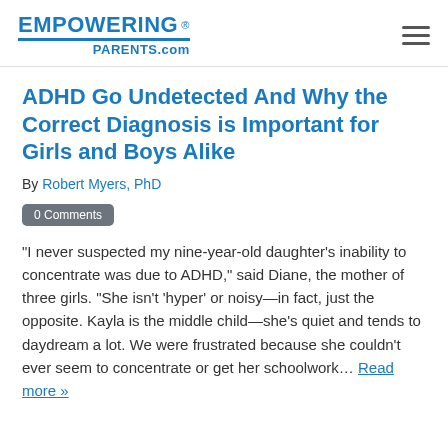EMPOWERING PARENTS.com
ADHD Go Undetected And Why the Correct Diagnosis is Important for Girls and Boys Alike
By Robert Myers, PhD
0 Comments
“I never suspected my nine-year-old daughter’s inability to concentrate was due to ADHD,” said Diane, the mother of three girls. “She isn’t ‘hyper’ or noisy—in fact, just the opposite. Kayla is the middle child—she’s quiet and tends to daydream a lot. We were frustrated because she couldn’t ever seem to concentrate or get her schoolwork… Read more »